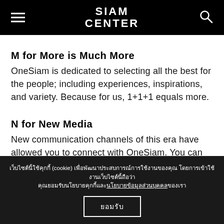SIAM CENTER
M for More is Much More
OneSiam is dedicated to selecting all the best for the people; including experiences, inspirations, and variety. Because for us, 1+1+1 equals more.
N for New Media
New communication channels of this era have allowed you to connect with OneSiam. You can now
เว็บไซต์นี้ใช้คุกกี้ (cookie) เพื่อพัฒนาประสบการณ์การใช้งานของคุณ โดยการเข้าใช้งานเว็บไซต์นี้ถือว่าคุณยอมรับนโยบายคุกกี้และนโยบายข้อมูลส่วนบุคคลของเรา ยอมรับ